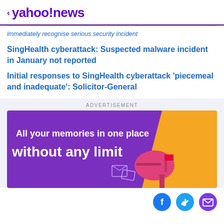< yahoo!news
immediately recognise serious security incident
SingHealth cyberattack: Suspected malware incident in January not reported
Initial responses to SingHealth cyberattack 'piecemeal and inadequate': Solicitor-General
ADVERTISEMENT
[Figure (illustration): Advertisement banner with purple and orange background. Text reads 'All your memories in one place without any limit' with an illustration of a pink mailbox.]
[Figure (other): Social share icons: Facebook (blue circle), Twitter (light blue circle), Email/mail (purple circle)]